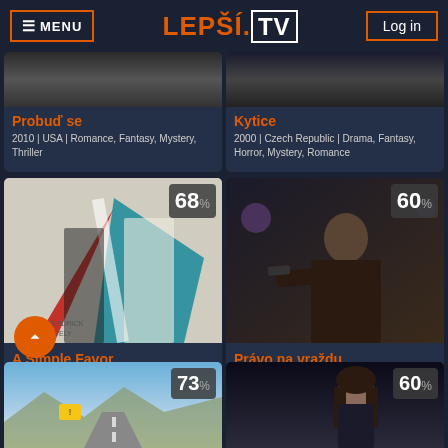≡ MENU | LEPŠÍ.TV | Log in
Probuď se
2010 | USA | Romance, Fantasy, Mystery, Thriller
Kytice
2000 | Czech Republic | Drama, Fantasy, Horror, Mystery, Romance
[Figure (screenshot): Movie poster for A Simple Favor with score badge 68%]
A Simple Favor
2018 | USA | Thriller, Crime, Mystery
[Figure (screenshot): Movie still for Právo na vraždu with score badge 60%]
Právo na vraždu
2008 | USA | Thriller, Drama, Crime, Mystery
[Figure (screenshot): Partial movie thumbnail for road scene with score badge 73%]
[Figure (screenshot): Partial movie thumbnail with woman and score badge 60%]